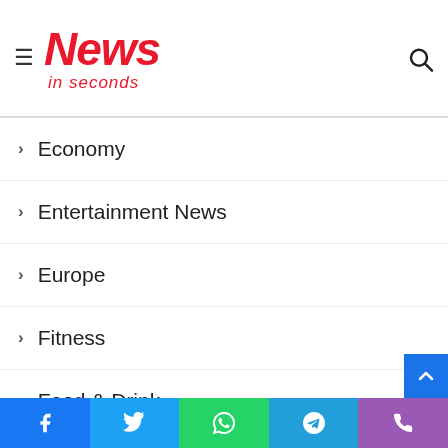News in seconds
Economy
Entertainment News
Europe
Fitness
Food & Drink
Gadgets
Games
Health
Ideas
India
Innovation
Facebook | Twitter | WhatsApp | Telegram | Phone